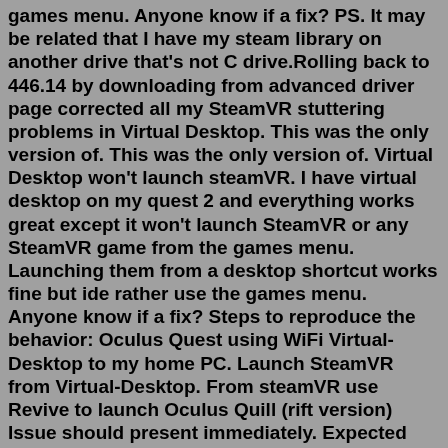games menu. Anyone know if a fix? PS. It may be related that I have my steam library on another drive that's not C drive.Rolling back to 446.14 by downloading from advanced driver page corrected all my SteamVR stuttering problems in Virtual Desktop. This was the only version of. This was the only version of. Virtual Desktop won't launch steamVR. I have virtual desktop on my quest 2 and everything works great except it won't launch SteamVR or any SteamVR game from the games menu. Launching them from a desktop shortcut works fine but ide rather use the games menu. Anyone know if a fix? Steps to reproduce the behavior: Oculus Quest using WiFi Virtual-Desktop to my home PC. Launch SteamVR from Virtual-Desktop. From steamVR use Revive to launch Oculus Quill (rift version) Issue should present immediately. Expected behavior. Smooth image and tracking. Environment: App: Quill via Virtual-Desktop.I tried more SteamVR wireless vs OculusVR with link… (3070/3700x/32gb) SteamVR works much better. On high VD preset + 90fps,